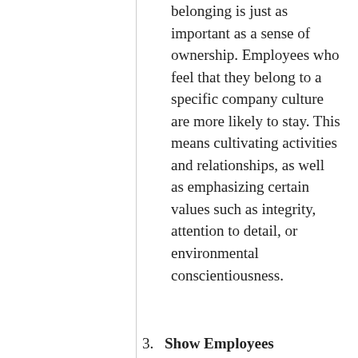Culture: A sense of belonging is just as important as a sense of ownership. Employees who feel that they belong to a specific company culture are more likely to stay. This means cultivating activities and relationships, as well as emphasizing certain values such as integrity, attention to detail, or environmental conscientiousness.
3. Show Employees